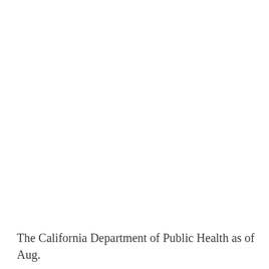The California Department of Public Health as of Aug.